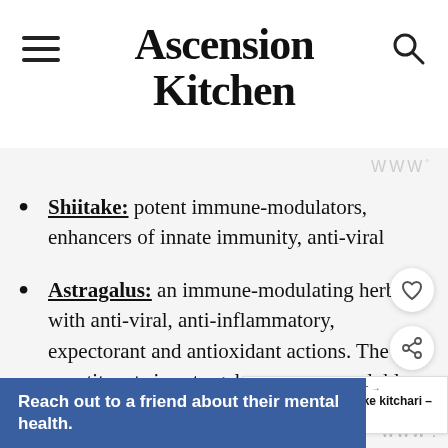Ascension Kitchen
Shiitake: potent immune-modulators, enhancers of innate immunity, anti-viral
Astragalus: an immune-modulating herb with anti-viral, anti-inflammatory, expectorant and antioxidant actions. The constituents in astragalus are water-soluble, so a broth like this is the perfect medium in which to extract them
Reach out to a friend about their mental health.